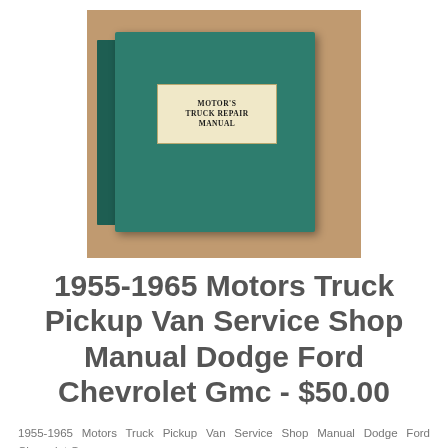[Figure (photo): A teal/green hardcover book titled 'Motor's Truck Repair Manual' resting on a tan/brown wooden surface. The book has a cream-colored label on its front cover with the title text.]
1955-1965 Motors Truck Pickup Van Service Shop Manual Dodge Ford Chevrolet Gmc - $50.00
1955-1965 Motors Truck Pickup Van Service Shop Manual Dodge Ford Chevrolet Gmc
1955-65 Motors Truck Service Manual. This Is An